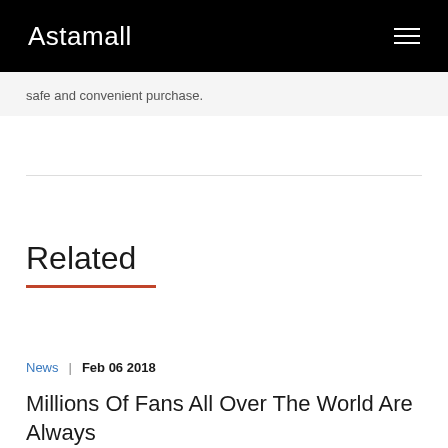Astamall
safe and convenient purchase.
Related
News  |  Feb 06 2018
Millions Of Fans All Over The World Are Always